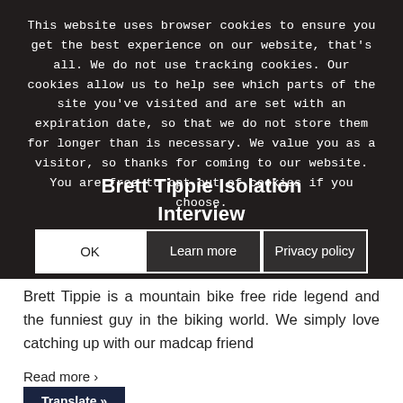[Figure (photo): Dark overlay cookie consent banner over a background photo (appears to be a person on a mountain bike). Contains cookie policy text, article title 'Brett Tippie Isolation Interview', and three buttons: OK, Learn more, Privacy policy.]
This website uses browser cookies to ensure you get the best experience on our website, that's all. We do not use tracking cookies. Our cookies allow us to help see which parts of the site you've visited and are set with an expiration date, so that we do not store them for longer than is necessary. We value you as a visitor, so thanks for coming to our website. You are free to opt out of cookies if you choose.
Brett Tippie Isolation
Interview
Brett Tippie is a mountain bike free ride legend and the funniest guy in the biking world. We simply love catching up with our madcap friend
Read more ›
Translate »